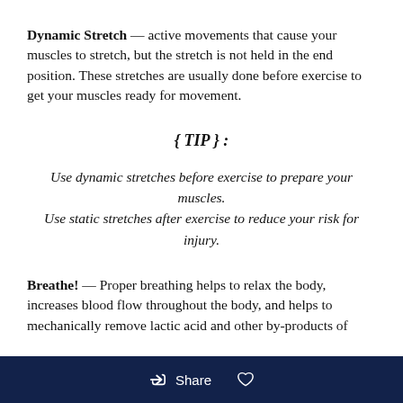Dynamic Stretch — active movements that cause your muscles to stretch, but the stretch is not held in the end position. These stretches are usually done before exercise to get your muscles ready for movement.
{ TIP } :
Use dynamic stretches before exercise to prepare your muscles. Use static stretches after exercise to reduce your risk for injury.
Breathe! — Proper breathing helps to relax the body, increases blood flow throughout the body, and helps to mechanically remove lactic acid and other by-products of
Share